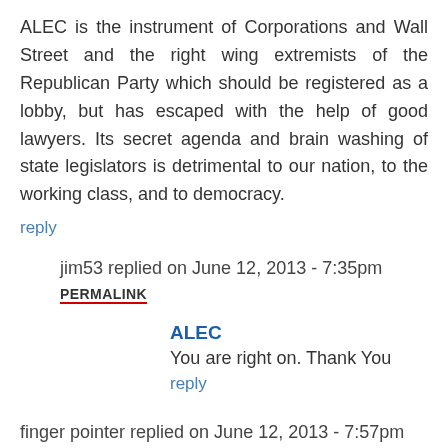ALEC is the instrument of Corporations and Wall Street and the right wing extremists of the Republican Party which should be registered as a lobby, but has escaped with the help of good lawyers. Its secret agenda and brain washing of state legislators is detrimental to our nation, to the working class, and to democracy.
reply
jim53 replied on June 12, 2013 - 7:35pm
PERMALINK
ALEC
You are right on. Thank You
reply
finger pointer replied on June 12, 2013 - 7:57pm
PERMALINK